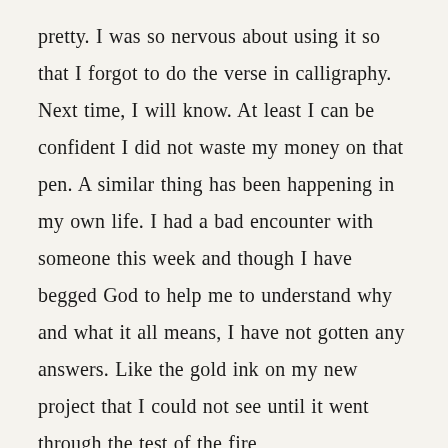pretty. I was so nervous about using it so that I forgot to do the verse in calligraphy. Next time, I will know. At least I can be confident I did not waste my money on that pen. A similar thing has been happening in my own life. I had a bad encounter with someone this week and though I have begged God to help me to understand why and what it all means, I have not gotten any answers. Like the gold ink on my new project that I could not see until it went through the test of the fire,